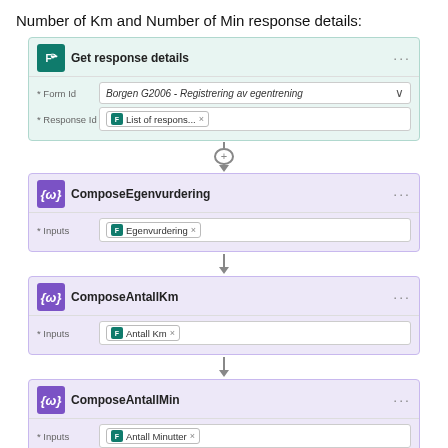Number of Km and Number of Min response details:
[Figure (flowchart): Power Automate flow diagram showing four steps: 'Get response details' (teal card) with Form Id 'Borgen G2006 - Registrering av egentrening' and Response Id 'List of respons... x', connected by a plus-button arrow to 'ComposeEgenvurdering' (purple card) with Inputs 'Egenvurdering x', connected by arrow to 'ComposeAntallKm' (purple card) with Inputs 'Antall Km x', connected by arrow to 'ComposeAntallMin' (purple card) with Inputs 'Antall Minutter x'.]